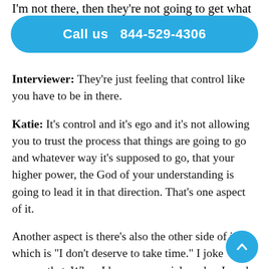I'm not there, then they're not going to get what
Call us  844-529-4306
Interviewer: They're just feeling that control like you have to be in there.
Katie: It's control and it's ego and it's not allowing you to trust the process that things are going to go and whatever way it's supposed to go, that your higher power, the God of your understanding is going to lead it in that direction. That's one aspect of it.
Another aspect is there's also the other side of it which is "I don't deserve to take time." I joke around that. When I became a social worker I made a deal with myself that I'm going to be a social worker that makes $75,000 a year for the rest of my life, I did it.